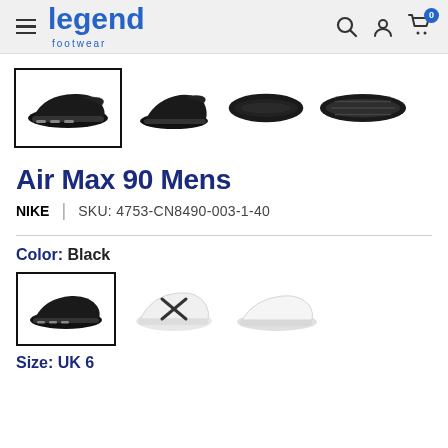legend footwear — navigation header with hamburger menu, search, account, and cart icons
[Figure (photo): Four thumbnail views of Nike Air Max 90 Mens shoe in black: side view (selected, with border), angled front view, top-down view, sole/bottom view]
Air Max 90 Mens
NIKE | SKU: 4753-CN8490-003-1-40
Color: Black
[Figure (photo): Three color variant swatches: black shoe (selected, with border), white shoe with X mark, white/light gray shoe]
Size: UK 6